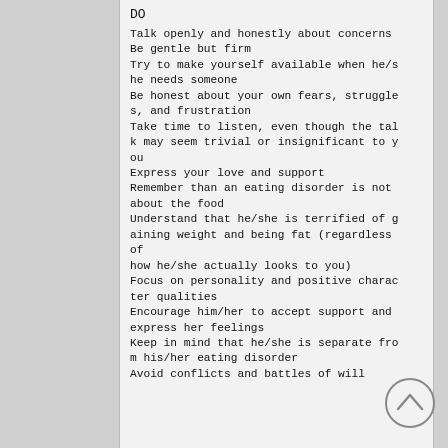DO
Talk openly and honestly about concerns
Be gentle but firm
Try to make yourself available when he/she needs someone
Be honest about your own fears, struggles, and frustration
Take time to listen, even though the talk may seem trivial or insignificant to you
Express your love and support
Remember than an eating disorder is not about the food
Understand that he/she is terrified of gaining weight and being fat (regardless of how he/she actually looks to you)
Focus on personality and positive character qualities
Encourage him/her to accept support and express her feelings
Keep in mind that he/she is separate from his/her eating disorder
Avoid conflicts and battles of will